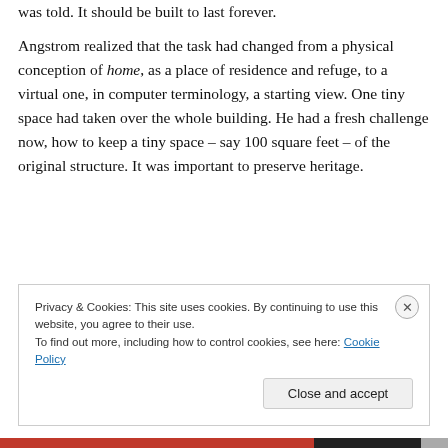was told. It should be built to last forever.
Angstrom realized that the task had changed from a physical conception of home, as a place of residence and refuge, to a virtual one, in computer terminology, a starting view. One tiny space had taken over the whole building. He had a fresh challenge now, how to keep a tiny space – say 100 square feet – of the original structure. It was important to preserve heritage.
Privacy & Cookies: This site uses cookies. By continuing to use this website, you agree to their use.
To find out more, including how to control cookies, see here: Cookie Policy